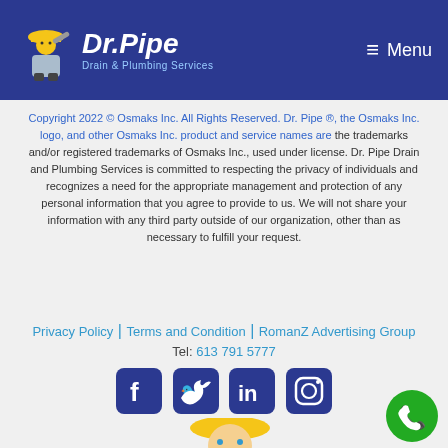[Figure (logo): Dr. Pipe Drain & Plumbing Services logo with plumber mascot icon and text in white italic on dark blue header background, with hamburger menu icon and 'Menu' text on the right]
Copyright 2022 © Osmaks Inc. All Rights Reserved. Dr. Pipe ®, the Osmaks Inc. logo, and other Osmaks Inc. product and service names are the trademarks and/or registered trademarks of Osmaks Inc., used under license. Dr. Pipe Drain and Plumbing Services is committed to respecting the privacy of individuals and recognizes a need for the appropriate management and protection of any personal information that you agree to provide to us. We will not share your information with any third party outside of our organization, other than as necessary to fulfill your request.
Privacy Policy | Terms and Condition | RomanZ Advertising Group
Tel: 613 791 5777
[Figure (illustration): Four social media icons: Facebook, Twitter, LinkedIn, Instagram — white icons on dark blue rounded square backgrounds]
[Figure (illustration): Cartoon plumber mascot wearing yellow hard hat and blue work suit, holding a wrench over shoulder, partially visible at bottom]
[Figure (illustration): Green circular call button with white phone icon in bottom-right corner]